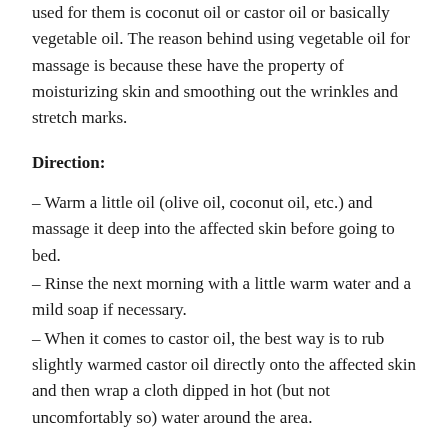used for them is coconut oil or castor oil or basically vegetable oil. The reason behind using vegetable oil for massage is because these have the property of moisturizing skin and smoothing out the wrinkles and stretch marks.
Direction:
– Warm a little oil (olive oil, coconut oil, etc.) and massage it deep into the affected skin before going to bed.
– Rinse the next morning with a little warm water and a mild soap if necessary.
– When it comes to castor oil, the best way is to rub slightly warmed castor oil directly onto the affected skin and then wrap a cloth dipped in hot (but not uncomfortably so) water around the area.
Aloe Vera